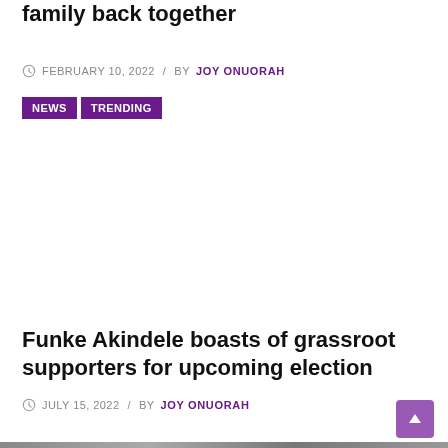family back together
FEBRUARY 10, 2022  /  BY JOY ONUORAH
NEWS  TRENDING
Funke Akindele boasts of grassroot supporters for upcoming election
JULY 15, 2022  /  BY JOY ONUORAH